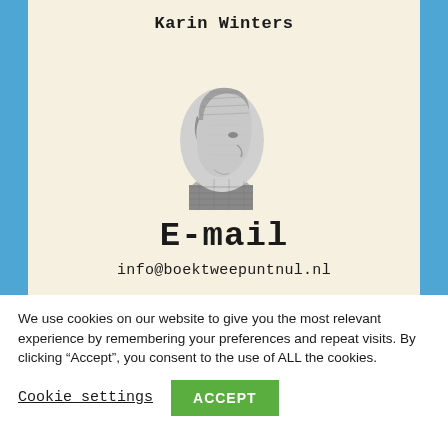Karin Winters
[Figure (illustration): Grayscale illustration of a woman's head in profile (side view), showing short styled hair and a necklace, resembling a vintage engraving or stamp portrait.]
E-mail
info@boektweepuntnul.nl
We use cookies on our website to give you the most relevant experience by remembering your preferences and repeat visits. By clicking “Accept”, you consent to the use of ALL the cookies.
Cookie settings   ACCEPT